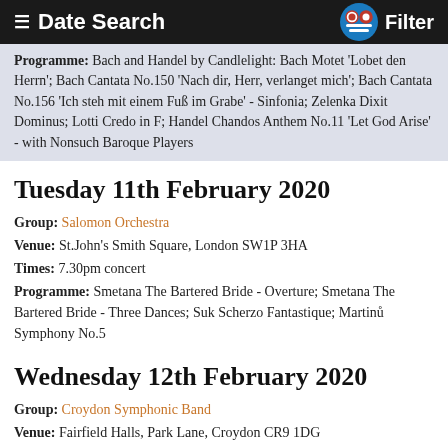≡ Date Search   Filter
Programme: Bach and Handel by Candlelight: Bach Motet 'Lobet den Herrn'; Bach Cantata No.150 'Nach dir, Herr, verlanget mich'; Bach Cantata No.156 'Ich steh mit einem Fuß im Grabe' - Sinfonia; Zelenka Dixit Dominus; Lotti Credo in F; Handel Chandos Anthem No.11 'Let God Arise' - with Nonsuch Baroque Players
Tuesday 11th February 2020
Group: Salomon Orchestra
Venue: St.John's Smith Square, London SW1P 3HA
Times: 7.30pm concert
Programme: Smetana The Bartered Bride - Overture; Smetana The Bartered Bride - Three Dances; Suk Scherzo Fantastique; Martinů Symphony No.5
Wednesday 12th February 2020
Group: Croydon Symphonic Band
Venue: Fairfield Halls, Park Lane, Croydon CR9 1DG
Times: 8.00pm concert